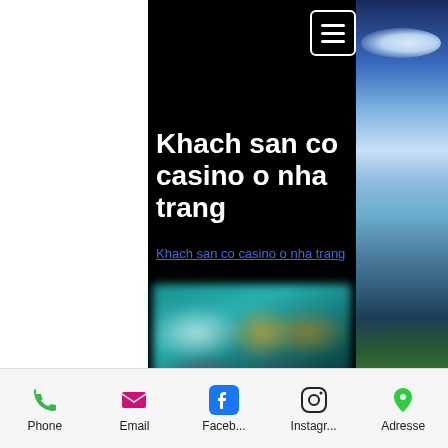Khach san co casino o nha trang
Khach san co casino o nha trang
[Figure (photo): Blurred casino interior image showing colorful game characters and casino floor]
Phone  Email  Faceb...  Instagr...  Adresse